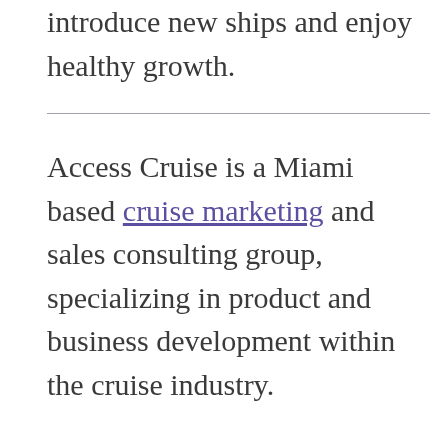introduce new ships and enjoy healthy growth.
Access Cruise is a Miami based cruise marketing and sales consulting group, specializing in product and business development within the cruise industry.